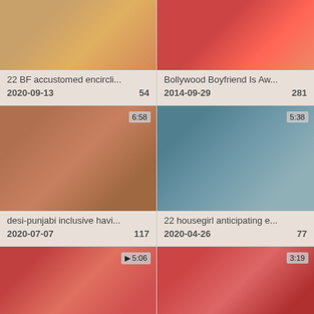[Figure (photo): Video thumbnail - top left, blurred intimate scene with orange tones]
[Figure (photo): Video thumbnail - top right, blurred scene with red roses and skin tones]
22 BF accustomed encircli...
2020-09-13   54
Bollywood Boyfriend Is Aw...
2014-09-29   281
[Figure (photo): Video thumbnail - middle left, 6:58, blurred intimate scene warm tones]
[Figure (photo): Video thumbnail - middle right, 5:38, blurred scene teal/skin tones]
desi-punjabi inclusive havi...
2020-07-07   117
22 housegirl anticipating e...
2020-04-26   77
[Figure (photo): Video thumbnail - bottom left, 5:06, close-up faces]
[Figure (photo): Video thumbnail - bottom right, 3:19, woman in red]